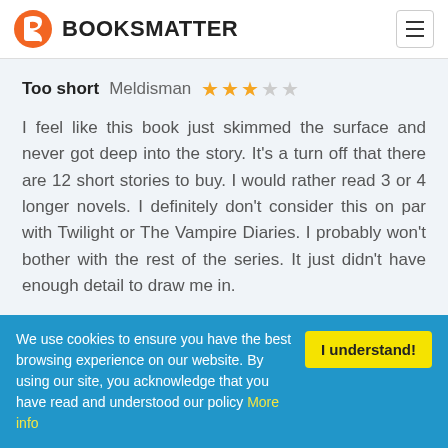BOOKSMATTER
Too short  Meldisman  ★★★☆☆
I feel like this book just skimmed the surface and never got deep into the story. It's a turn off that there are 12 short stories to buy. I would rather read 3 or 4 longer novels. I definitely don't consider this on par with Twilight or The Vampire Diaries. I probably won't bother with the rest of the series. It just didn't have enough detail to draw me in.
We use cookies to ensure you have the best browsing experience on our website. By using our site, you acknowledge that you have read and understood our policy More info